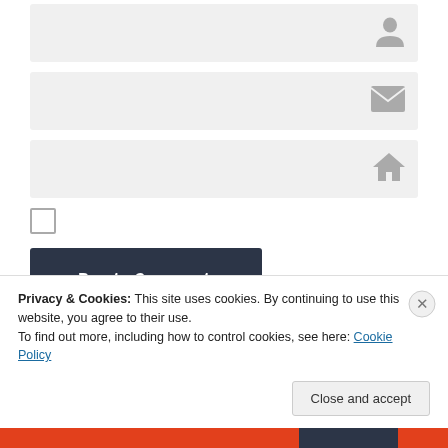[Figure (screenshot): Form input field with person/user icon on the right side, light gray background]
[Figure (screenshot): Form input field with email/envelope icon on the right side, light gray background]
[Figure (screenshot): Form input field with house/home icon on the right side, light gray background]
[Figure (screenshot): Empty unchecked checkbox]
[Figure (screenshot): Dark navy Post Comment button]
Notify me of new comments via email.
Privacy & Cookies: This site uses cookies. By continuing to use this website, you agree to their use.
To find out more, including how to control cookies, see here: Cookie Policy
[Figure (screenshot): Close and accept button, light gray rounded rectangle]